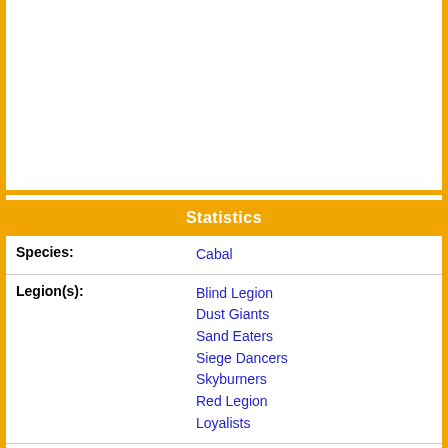[Figure (other): Image area (blank/white) at top of infobox card]
Statistics
| Species: | Cabal |
| Legion(s): | Blind Legion
Dust Giants
Sand Eaters
Siege Dancers
Skyburners
Red Legion
Loyalists |
| Role(s): | Line Infantry |
| Height: | 8'1 |
| Weight: | 800 lbs |